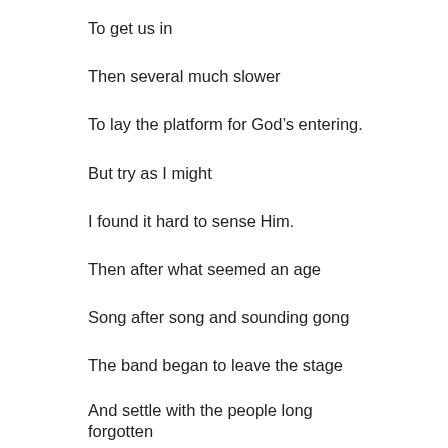To get us in
Then several much slower
To lay the platform for God’s entering.
But try as I might
I found it hard to sense Him.
Then after what seemed an age
Song after song and sounding gong
The band began to leave the stage
And settle with the people long forgotten